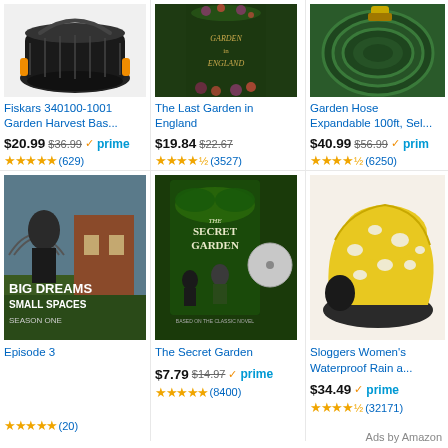[Figure (photo): Fiskars harvest basket - black and orange]
Fiskars 340100-1001 Garden Harvest Bas...
$20.99  $36.99  prime  ★★★★★ (629)
[Figure (photo): The Last Garden in England book cover - dark green with flowers]
The Last Garden in England
$19.84  $22.67  ★★★★½ (3527)
[Figure (photo): Garden Hose Expandable 100ft - green coiled hose]
Garden Hose Expandable 100ft, Sel...
$40.99  $56.99  prime  ★★★★½ (6250)
[Figure (photo): Big Dreams Small Spaces Season One DVD cover with man in garden]
Episode 3
★★★★★ (20)
[Figure (photo): The Secret Garden DVD cover]
The Secret Garden
$7.79  $14.97  prime  ★★★★★ (8400)
[Figure (photo): Sloggers Women's yellow waterproof garden shoe with pattern]
Sloggers Women's Waterproof Rain a...
$34.49  prime  ★★★★½ (32171)
Ads by Amazon